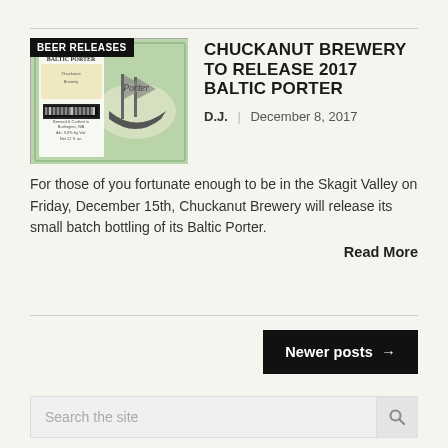[Figure (photo): Beer Releases badge over Chuckanut Baltic Porter bottle label with ship illustration on green background]
CHUCKANUT BREWERY TO RELEASE 2017 BALTIC PORTER
D.J.  |  December 8, 2017
For those of you fortunate enough to be in the Skagit Valley on Friday, December 15th, Chuckanut Brewery will release its small batch bottling of its Baltic Porter.
Read More
Newer posts →
Search the site
[Figure (logo): Facebook icon - blue square with f]
[Figure (logo): Flickr icon - pink square with camera]
[Figure (logo): Instagram icon - brown square with camera]
[Figure (logo): Twitter icon - light blue square with bird]
[Figure (logo): YouTube icon - red square with play button]